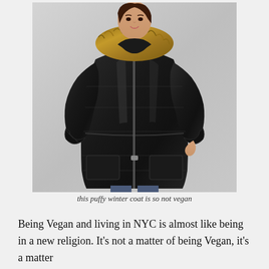[Figure (photo): A woman wearing a shiny black puffy winter coat with a fur-trimmed hood and zipper front. The coat is long, quilted, and has ribbed cuffs. The background is light grey.]
this puffy winter coat is so not vegan
Being Vegan and living in NYC is almost like being in a new religion. It's not a matter of being Vegan, it's a matter of treating life as all one. For those who are not already